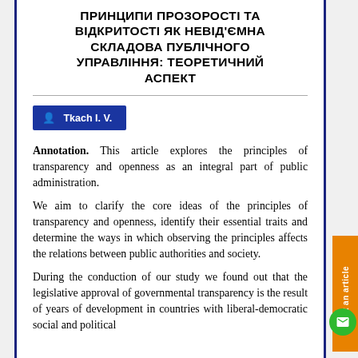ПРИНЦИПИ ПРОЗОРОСТІ ТА ВІДКРИТОСТІ ЯК НЕВІД'ЄМНА СКЛАДОВА ПУБЛІЧНОГО УПРАВЛІННЯ: ТЕОРЕТИЧНИЙ АСПЕКТ
Tkach I. V.
Annotation. This article explores the principles of transparency and openness as an integral part of public administration.
We aim to clarify the core ideas of the principles of transparency and openness, identify their essential traits and determine the ways in which observing the principles affects the relations between public authorities and society.
During the conduction of our study we found out that the legislative approval of governmental transparency is the result of years of development in countries with liberal-democratic social and political